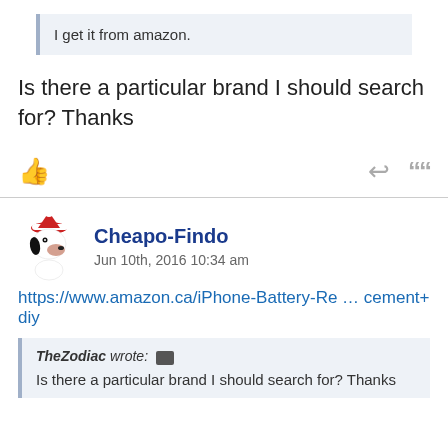I get it from amazon.
Is there a particular brand I should search for? Thanks
Cheapo-Findo
Jun 10th, 2016 10:34 am
https://www.amazon.ca/iPhone-Battery-Re … cement+diy
TheZodiac wrote: Is there a particular brand I should search for? Thanks